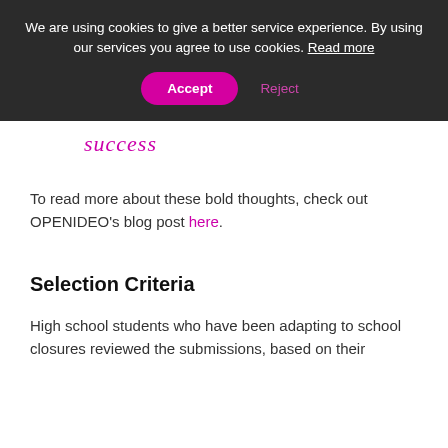We are using cookies to give a better service experience. By using our services you agree to use cookies. Read more
Accept | Reject
success
To read more about these bold thoughts, check out OPENIDEO’s blog post here.
Selection Criteria
High school students who have been adapting to school closures reviewed the submissions, based on their